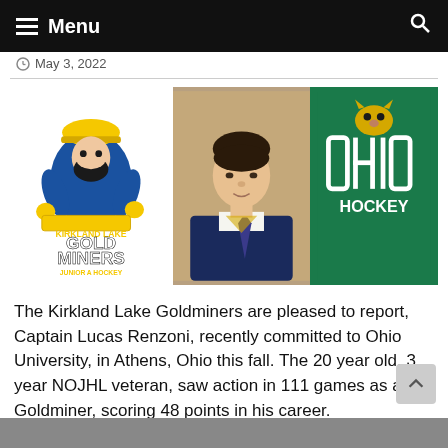Menu
May 3, 2022
[Figure (illustration): Three-panel composite image: left panel shows Kirkland Lake Gold Miners Junior A Hockey logo (miner mascot in blue/yellow), center panel shows headshot photo of Captain Lucas Renzoni in team jersey, right panel shows Ohio University Hockey logo on green background.]
The Kirkland Lake Goldminers are pleased to report, Captain Lucas Renzoni, recently committed to Ohio University, in Athens, Ohio this fall. The 20 year old, 3 year NOJHL veteran, saw action in 111 games as a Goldminer, scoring 48 points in his career.